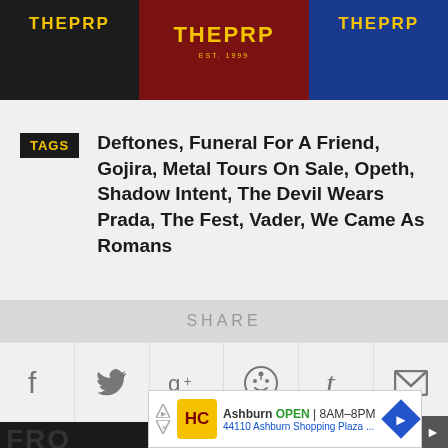[Figure (photo): T-shirts with THEPRP logo in black, red/maroon, and blue colorways displayed on a dark background]
TAGS  Deftones, Funeral For A Friend, Gojira, Metal Tours On Sale, Opeth, Shadow Intent, The Devil Wears Prada, The Fest, Vader, We Came As Romans
SHARE
[Figure (infographic): Social share buttons: Facebook, Twitter, Google+, Reddit, Tumblr, Email]
[Figure (screenshot): Advertisement: Ashburn OPEN 8AM-8PM, 44110 Ashburn Shopping Plaza...]